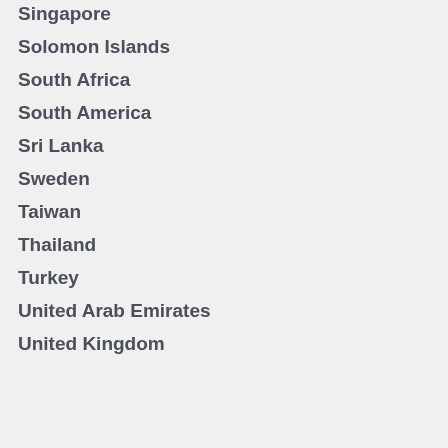Singapore
Solomon Islands
South Africa
South America
Sri Lanka
Sweden
Taiwan
Thailand
Turkey
United Arab Emirates
United Kingdom